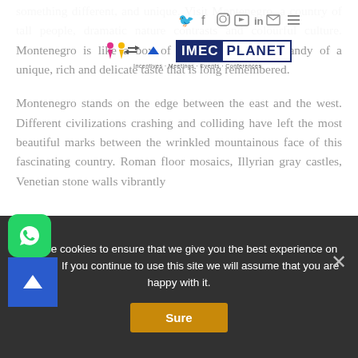[Figure (logo): IMEC PLANET logo with tagline 'Incentives · Meetings · Events · Conferences', overlaid with social media navigation icons (Twitter, Facebook, Instagram, YouTube, LinkedIn, Email, Menu)]
something different, and unique. Visit Montenegro, a country of tall people, dramatic nature contrasts and colourful culture. Montenegro is like a box of chocolates – every candy of a unique, rich and delicate taste that is long remembered.
Montenegro stands on the edge between the east and the west. Different civilizations crashing and colliding have left the most beautiful marks between the wrinkled mountainous face of this fascinating country. Roman floor mosaics, Illyrian gray castles, Venetian stone walls vibrantly
We use cookies to ensure that we give you the best experience on website. If you continue to use this site we will assume that you are happy with it.